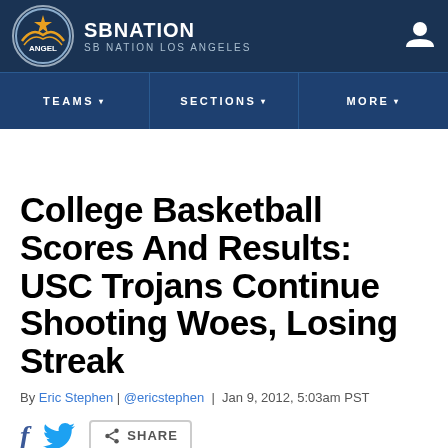SB NATION — SB NATION LOS ANGELES
[Figure (logo): SB Nation Los Angeles circular logo with angel wings and orange star]
TEAMS ▾   SECTIONS ▾   MORE ▾
College Basketball Scores And Results: USC Trojans Continue Shooting Woes, Losing Streak
By Eric Stephen | @ericstephen | Jan 9, 2012, 5:03am PST
f  [twitter icon]  [share icon] SHARE